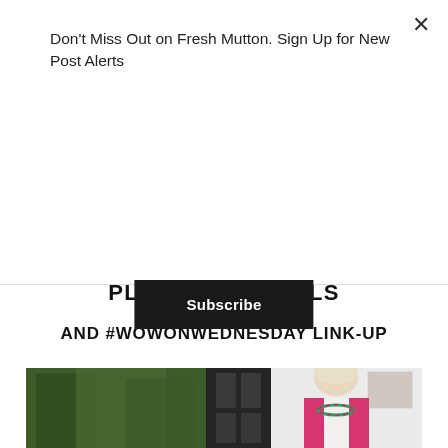Don't Miss Out on Fresh Mutton. Sign Up for New Post Alerts
Subscribe
WEDNESDAY, 15 JUNE 2022
PLANS AND GOALS
AND #WOWONWEDNESDAY LINK-UP
[Figure (photo): A blonde woman smiling, wearing a pink cardigan and green and pink beaded necklace, standing in front of a glass door with garden greenery visible behind her.]